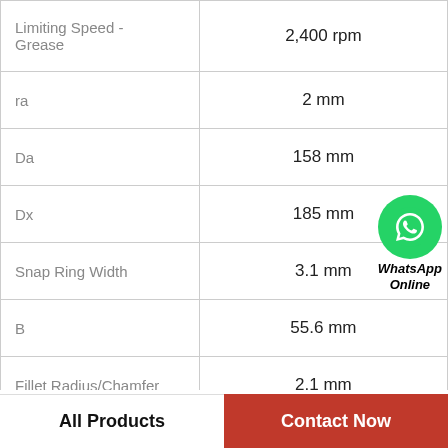| Property | Value |
| --- | --- |
| Limiting Speed - Grease | 2,400 rpm |
| ra | 2 mm |
| Da | 158 mm |
| Dx | 185 mm |
| Snap Ring Width | 3.1 mm |
| B | 55.6 mm |
| Fillet Radius/Chamfer | 2.1 mm |
| Dynamic Load Rating | 139,000 N |
|  |  |
[Figure (logo): WhatsApp Online green circle badge with phone icon and italic bold text 'WhatsApp Online']
All Products    Contact Now